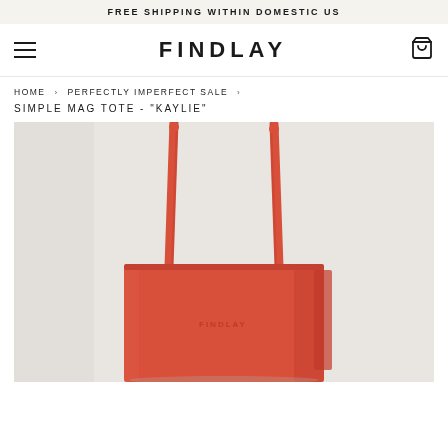FREE SHIPPING WITHIN DOMESTIC US
FINDLAY
HOME › PERFECTLY IMPERFECT SALE ›
SIMPLE MAG TOTE - "KAYLIE"
[Figure (photo): Product photo of a coral/red leather tote bag with long straps, photographed against a white background. The bag has a structured rectangular shape and the FINDLAY logo is embossed on the front.]